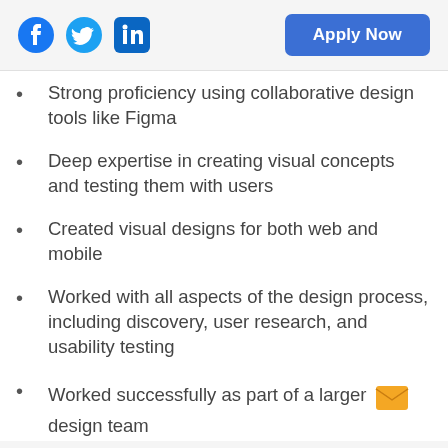Social icons (Facebook, Twitter, LinkedIn) and Apply Now button
Strong proficiency using collaborative design tools like Figma
Deep expertise in creating visual concepts and testing them with users
Created visual designs for both web and mobile
Worked with all aspects of the design process, including discovery, user research, and usability testing
Worked successfully as part of a larger design team